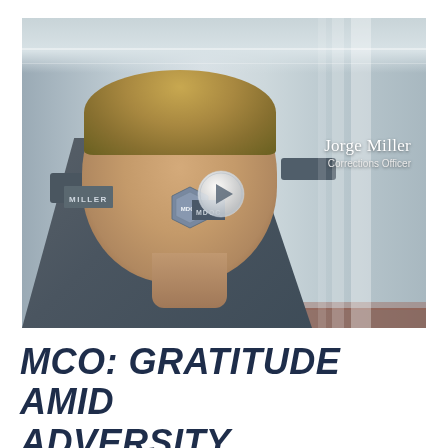[Figure (photo): A corrections officer named Jorge Miller in a gray MDOC uniform with badge and tie, standing in a corridor. A video play button overlay is visible in the center. His name and title 'Jorge Miller, Corrections Officer' appear in white text on the right side of the image.]
MCO: GRATITUDE AMID ADVERSITY